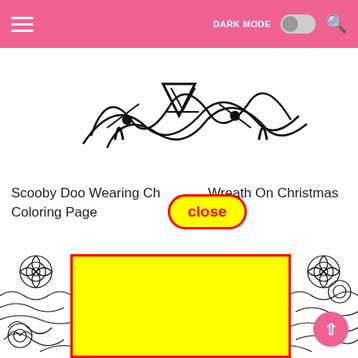DARK MODE [toggle] [search]
[Figure (illustration): Partial view of a Scooby Doo Christmas coloring page showing decorative lettering at the top]
Scooby Doo Wearing Christmas Wreath On Christmas Coloring Page
[Figure (screenshot): A close button UI element with red border on yellow background, overlaid on the page]
[Figure (illustration): Mandala/floral pattern coloring page with black and white intricate designs, partially covered by a large yellow rectangle with red border (advertisement/overlay)]